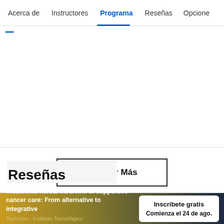Acerca de   Instructores   Programa   Reseñas   Opcione
Mostrar Más
Reseñas
Traditional herbal medicine in supportive cancer care: From alternative to integrative
Technion - Instituto Tecnológico de Israel
Inscríbete gratis
Comienza el 24 de ago.